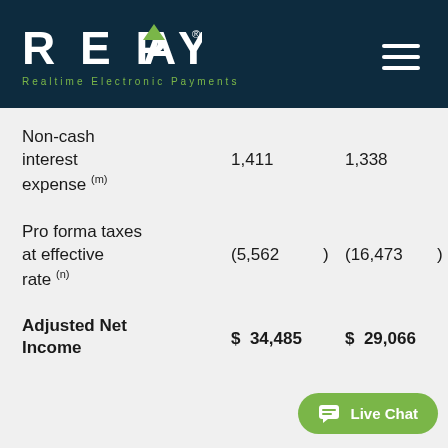REPAY — Realtime Electronic Payments
|  | Col1 |  | Col2 |  |
| --- | --- | --- | --- | --- |
| Non-cash interest expense (m) | 1,411 |  | 1,338 |  |
| Pro forma taxes at effective rate (n) | (5,562 | ) | (16,473 | ) |
| Adjusted Net Income | $ 34,485 |  | $ 29,066 |  |